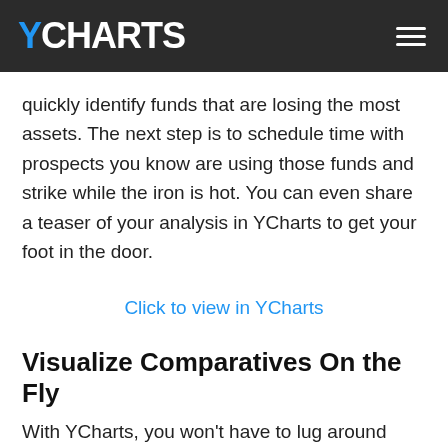YCHARTS
quickly identify funds that are losing the most assets. The next step is to schedule time with prospects you know are using those funds and strike while the iron is hot. You can even share a teaser of your analysis in YCharts to get your foot in the door.
Click to view in YCharts
Visualize Comparatives On the Fly
With YCharts, you won't have to lug around binders of stale